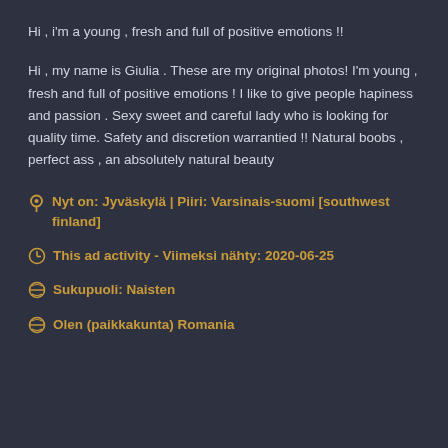Hi , i'm a young , fresh and full of positive emotions !!
Hi , my name is Giulia . These are my original photos! I'm young , fresh and full of positive emotions ! I like to give people hapiness and passion . Sexy sweet and careful lady who is looking for quality time. Safety and discretion warrantied !! Natural boobs , perfect ass , an absolutely natural beauty
Nyt on: Jyväskylä | Piiri: Varsinais-suomi [southwest finland]
This ad activity - Viimeksi nähty: 2020-06-25
Sukupuoli: Naisten
Olen (paikkakunta) Romania